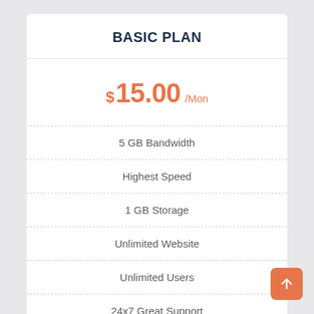BASIC PLAN
$15.00 /Mon
5 GB Bandwidth
Highest Speed
1 GB Storage
Unlimited Website
Unlimited Users
24x7 Great Support